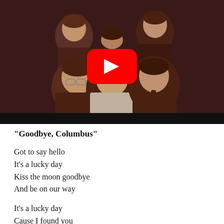[Figure (screenshot): YouTube video thumbnail showing five young men in brown suits from the late 1960s/early 1970s, with a red YouTube play button overlay in the center.]
“Goodbye, Columbus”
Got to say hello
It’s a lucky day
Kiss the moon goodbye
And be on our way

It’s a lucky day
Cause I found you